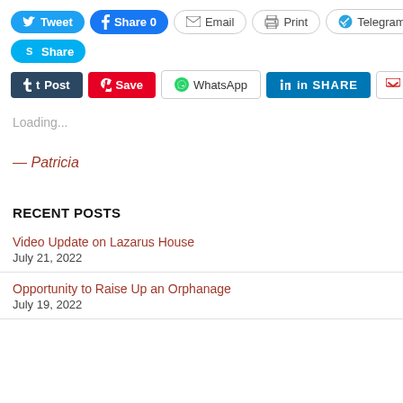[Figure (screenshot): Social share buttons row 1: Tweet (Twitter), Share 0 (Facebook), Email, Print, Telegram]
[Figure (screenshot): Social share button row 2: Share (Skype)]
[Figure (screenshot): Social share buttons row 3: Post (Tumblr), Save (Pinterest), WhatsApp, SHARE (LinkedIn), Pocket, 0]
Loading...
— Patricia
RECENT POSTS
Video Update on Lazarus House
July 21, 2022
Opportunity to Raise Up an Orphanage
July 19, 2022